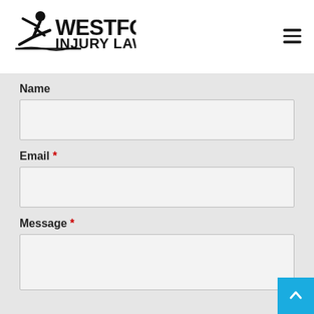[Figure (logo): Westford Injury Lawyers logo with a figure slipping/falling icon and bold text]
Name
Email *
Message *